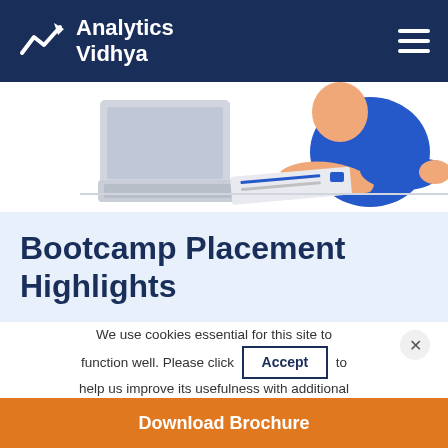Analytics Vidhya
[Figure (illustration): Illustration of person typing on keyboard at a computer desk, with papers and a monitor visible, colorful flat design style]
Bootcamp Placement Highlights
We use cookies essential for this site to function well. Please click Accept to help us improve its usefulness with additional cookies. Learn about our use of cookies in our
Download Brochure